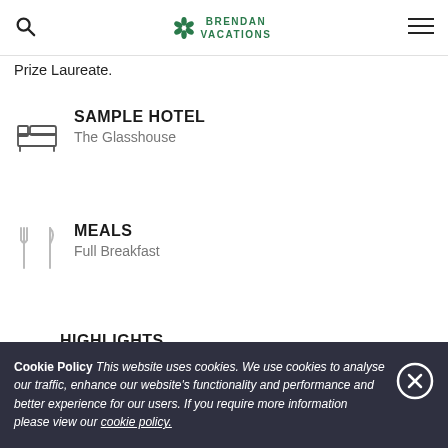Brendan Vacations
Prize Laureate.
SAMPLE HOTEL
The Glasshouse
MEALS
Full Breakfast
HIGHLIGHTS
Cookie Policy This website uses cookies. We use cookies to analyse our traffic, enhance our website's functionality and performance and better experience for our users. If you require more information please view our cookie policy.